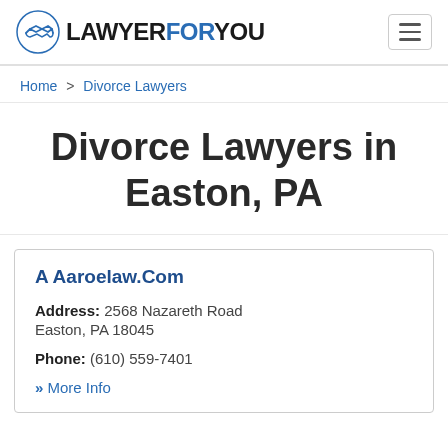LAWYERFORYOU
Home > Divorce Lawyers
Divorce Lawyers in Easton, PA
A Aaroelaw.Com
Address: 2568 Nazareth Road Easton, PA 18045
Phone: (610) 559-7401
» More Info